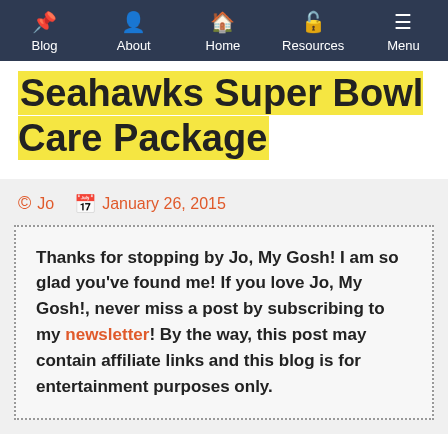Blog | About | Home | Resources | Menu
Seahawks Super Bowl Care Package
Jo  January 26, 2015
Thanks for stopping by Jo, My Gosh! I am so glad you've found me! If you love Jo, My Gosh!, never miss a post by subscribing to my newsletter! By the way, this post may contain affiliate links and this blog is for entertainment purposes only.